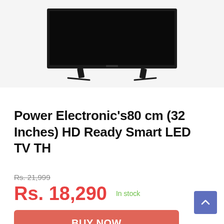[Figure (photo): Product photo of a flat-screen LED TV on a stand, displayed on a light gray background]
Power Electronic's80 cm (32 Inches) HD Ready Smart LED TV TH
Rs. 21,999
Rs. 18,290  In stock
BUY NOW
Amazon.in